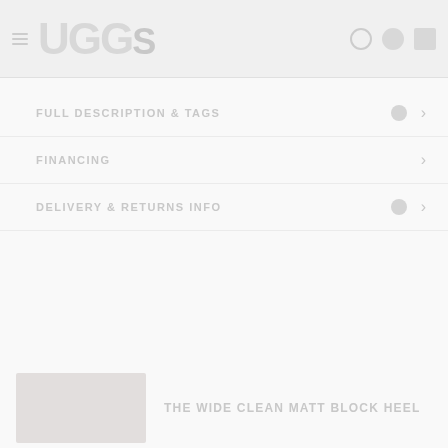UGGS (logo/brand header with menu icon and search/account icons)
FULL DESCRIPTION & TAGS
FINANCING
DELIVERY & RETURNS INFO
THE WIDE CLEAN MATT BLOCK HEEL